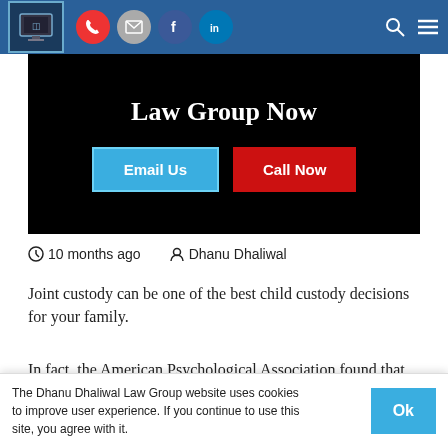[Figure (screenshot): Navigation bar with logo, phone, email, Facebook, LinkedIn icons, search and menu icons on blue background]
[Figure (screenshot): Hero banner with black background showing 'Law Group Now' heading and two buttons: 'Email Us' (blue) and 'Call Now' (red)]
10 months ago  Dhanu Dhaliwal
Joint custody can be one of the best child custody decisions for your family.
In fact, the American Psychological Association found that children are more
The Dhanu Dhaliwal Law Group website uses cookies to improve user experience. If you continue to use this site, you agree with it.